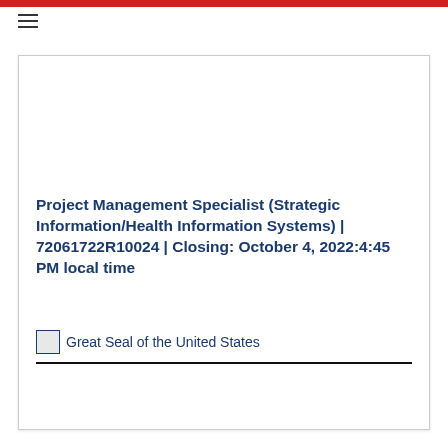Project Management Specialist (Strategic Information/Health Information Systems) | 72061722R10024 | Closing: October 4, 2022:4:45 PM local time
[Figure (logo): Great Seal of the United States image placeholder with alt text]
Great Seal of the United States